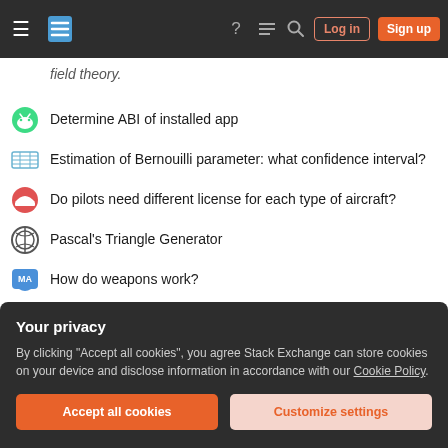Stack Exchange navigation bar with hamburger menu, logo, help, chat, search icons, Log in and Sign up buttons
field theory.
Determine ABI of installed app
Estimation of Bernouilli parameter: what confidence interval?
Do pilots need different license for each type of aircraft?
Pascal's Triangle Generator
How do weapons work?
Is it biologically plausible for a land animal to drink saltwater and not drink freshwater?
Why is it harder to hear someone underwater than on air?
Do I have to make a move on a DGT board at the start of the game
Your privacy
By clicking "Accept all cookies", you agree Stack Exchange can store cookies on your device and disclose information in accordance with our Cookie Policy.
Accept all cookies | Customize settings